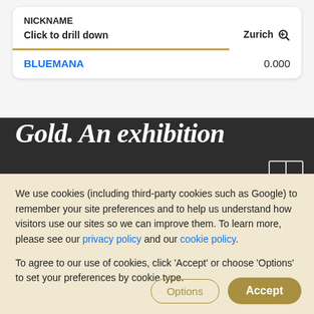NICKNAME
Click to drill down    Zurich
BLUEMANA    0.000
[Figure (screenshot): Partial screenshot of dark background with italic bold white text reading 'Gold. An exhibition']
We use cookies (including third-party cookies such as Google) to remember your site preferences and to help us understand how visitors use our sites so we can improve them. To learn more, please see our privacy policy and our cookie policy.

To agree to our use of cookies, click 'Accept' or choose 'Options' to set your preferences by cookie type.